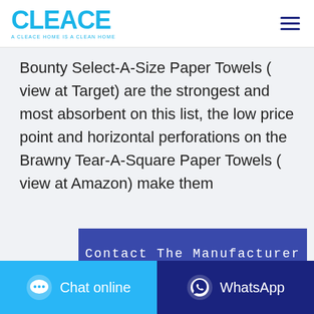CLEACE — A CLEACE HOME IS A CLEAN HOME
Bounty Select-A-Size Paper Towels ( view at Target) are the strongest and most absorbent on this list, the low price point and horizontal perforations on the Brawny Tear-A-Square Paper Towels ( view at Amazon) make them
Contact The Manufacturer
WhatsApp
Chat online | WhatsApp